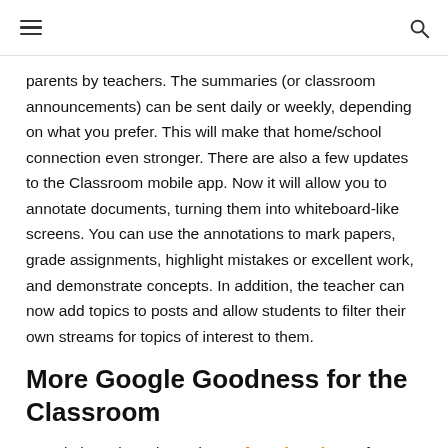≡  🔍
parents by teachers. The summaries (or classroom announcements) can be sent daily or weekly, depending on what you prefer. This will make that home/school connection even stronger. There are also a few updates to the Classroom mobile app. Now it will allow you to annotate documents, turning them into whiteboard-like screens. You can use the annotations to mark papers, grade assignments, highlight mistakes or excellent work, and demonstrate concepts. In addition, the teacher can now add topics to posts and allow students to filter their own streams for topics of interest to them.
More Google Goodness for the Classroom
Google has also released Cast for Education, a free